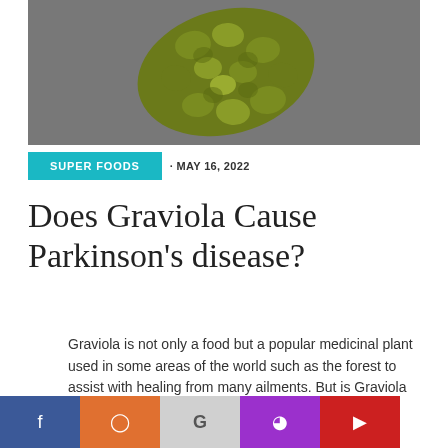[Figure (photo): Close-up photograph of a graviola (soursop) fruit against a dark grey background, showing its bumpy green exterior texture.]
SUPER FOODS · MAY 16, 2022
Does Graviola Cause Parkinson's disease?
Graviola is not only a food but a popular medicinal plant used in some areas of the world such as the forest to assist with healing from many ailments. But is Graviola safe? One red flag you may have heard about is whether Graviola